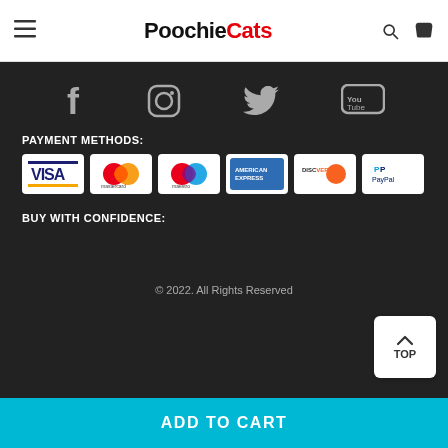PoochieCats
[Figure (screenshot): Social media icons: Facebook, Instagram, Twitter, YouTube on dark background]
PAYMENT METHODS:
[Figure (infographic): Payment method logos: Visa, Mastercard, Maestro, American Express, Discover, PayPal]
BUY WITH CONFIDENCE:
© 2022. All Rights Reserved
ADD TO CART